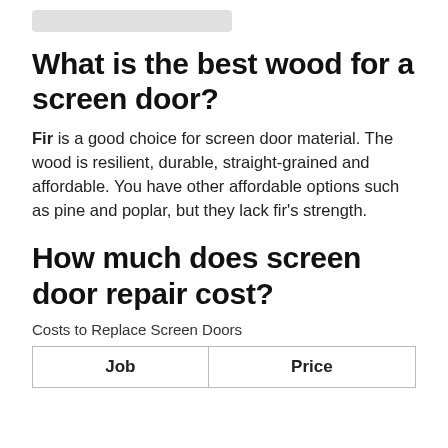What is the best wood for a screen door?
Fir is a good choice for screen door material. The wood is resilient, durable, straight-grained and affordable. You have other affordable options such as pine and poplar, but they lack fir’s strength.
How much does screen door repair cost?
Costs to Replace Screen Doors
| Job | Price |
| --- | --- |